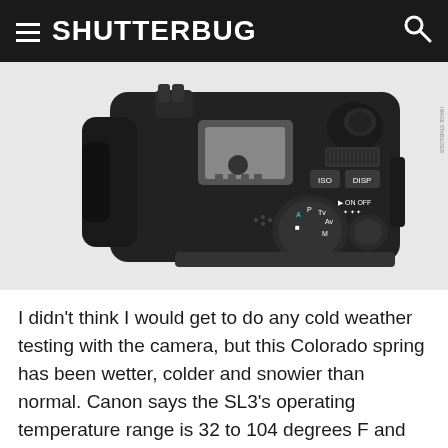SHUTTERBUG
[Figure (photo): Top-down view of a Canon SL3 DSLR camera body in black, showing the hot shoe, mode dial, ISO and DISP buttons, and ON/OFF switch.]
I didn't think I would get to do any cold weather testing with the camera, but this Colorado spring has been wetter, colder and snowier than normal. Canon says the SL3's operating temperature range is 32 to 104 degrees F and zero to 85% humidity, but I ended